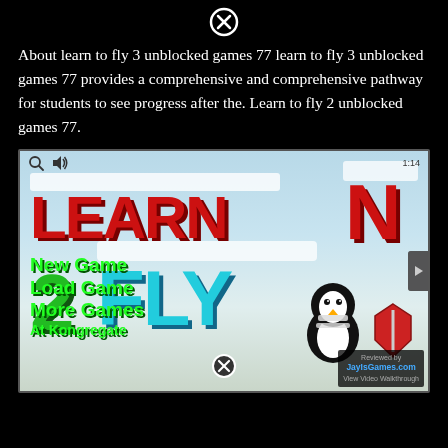[Figure (screenshot): Close/X button icon at top center of the popup overlay]
About learn to fly 3 unblocked games 77 learn to fly 3 unblocked games 77 provides a comprehensive and comprehensive pathway for students to see progress after the. Learn to fly 2 unblocked games 77.
[Figure (screenshot): Screenshot of 'Learn 2 Fly' game loading screen showing LEARN N in red 3D letters with snow, 2 in green, FLY in teal/cyan, a bandaged penguin, and menu options: New Game, Load Game, More Games At Kongregate. Top bar shows magnifier and speaker icons plus 1:14 timer. Bottom right shows JayIsGames.com Reviewed by badge and View Video Walkthrough link. A close (X) button appears at bottom center.]